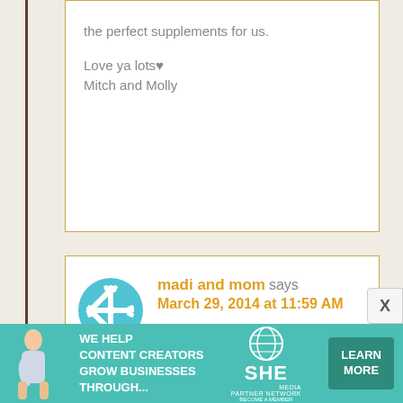the perfect supplements for us.

Love ya lots♥
Mitch and Molly
madi and mom says
March 29, 2014 at 11:59 AM

Sugar you are a golden delightful friend too
Hugs madi your bfff
[Figure (other): SHE Partner Network advertisement banner with woman at laptop, teal background, text: WE HELP CONTENT CREATORS GROW BUSINESSES THROUGH... with LEARN MORE button]